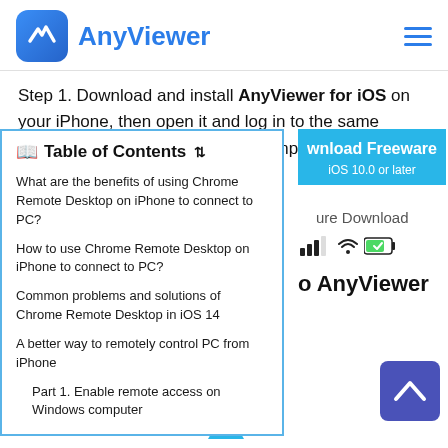AnyViewer
Step 1. Download and install AnyViewer for iOS on your iPhone, then open it and log in to the same account you've logged in to the computer.
Table of Contents
What are the benefits of using Chrome Remote Desktop on iPhone to connect to PC?
How to use Chrome Remote Desktop on iPhone to connect to PC?
Common problems and solutions of Chrome Remote Desktop in iOS 14
A better way to remotely control PC from iPhone
Part 1. Enable remote access on Windows computer
[Figure (screenshot): Download Freeware button for iOS 10.0 or later with cyan/blue background]
Secure Download
[Figure (screenshot): Phone status icons: signal bars, wifi, battery charging indicator]
o AnyViewer
[Figure (other): Purple scroll-to-top button with upward caret icon]